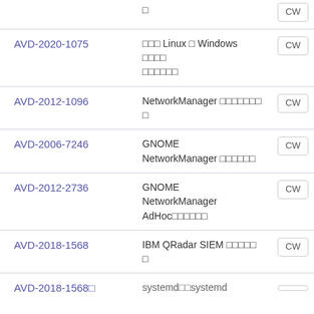| ID | Description | Action |
| --- | --- | --- |
|  | □ | CW |
| AVD-2020-1075 | □□□ Linux □ Windows □□□□ □□□□□□ | CW |
| AVD-2012-1096 | NetworkManager □□□□□□□ □ | CW |
| AVD-2006-7246 | GNOME NetworkManager □□□□□□ | CW |
| AVD-2012-2736 | GNOME NetworkManager AdHoc□□□□□□ | CW |
| AVD-2018-1568 | IBM QRadar SIEM □□□□□ □ | CW |
| AVD-2018-1568□ | systemd□□systemd | CW |